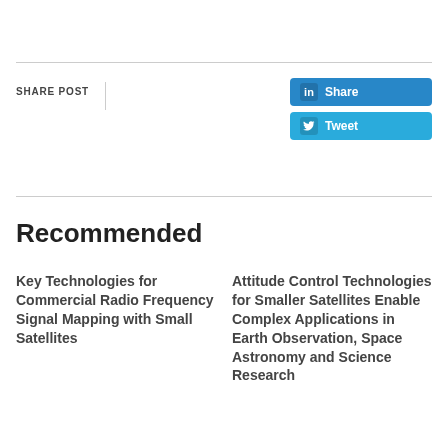SHARE POST
[Figure (other): LinkedIn Share button (blue rounded rectangle with 'in' icon and 'Share' text)]
[Figure (other): Twitter Tweet button (light blue rounded rectangle with bird icon and 'Tweet' text)]
Recommended
Key Technologies for Commercial Radio Frequency Signal Mapping with Small Satellites
Attitude Control Technologies for Smaller Satellites Enable Complex Applications in Earth Observation, Space Astronomy and Science Research